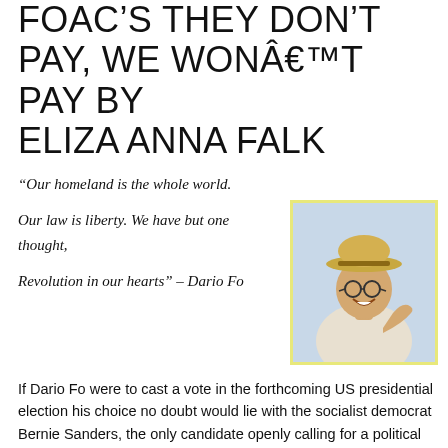FOAC'S THEY DON'T PAY, WE WON'T PAY BY ELIZA ANNA FALK
“Our homeland is the whole world.

Our law is liberty. We have but one thought,

Revolution in our hearts” – Dario Fo
[Figure (photo): Photo of Dario Fo, an older man wearing a hat and glasses, smiling]
If Dario Fo were to cast a vote in the forthcoming US presidential election his choice no doubt would lie with the socialist democrat Bernie Sanders, the only candidate openly calling for a political revolution. When interviewed by the British Guardian in 1997 after receiving a Nobel Prize for Literature, Fo said that he had been born politicized, and